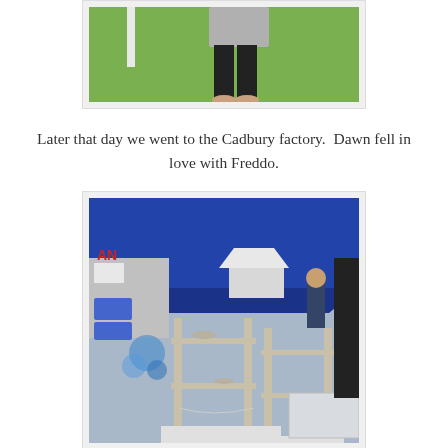[Figure (photo): Top of a photo showing person standing on grass in black pants and patterned top, partially cropped]
Later that day we went to the Cadbury factory.  Dawn fell in love with Freddo.
[Figure (photo): Outdoor market stall with blue canopy tent, displaying shelving units with pottery and crafts on white tablecloths, Salamanca Market]
The folllowing day we went to Salamanca Market on the waterside in Hobart.  Everytime I go I find so much